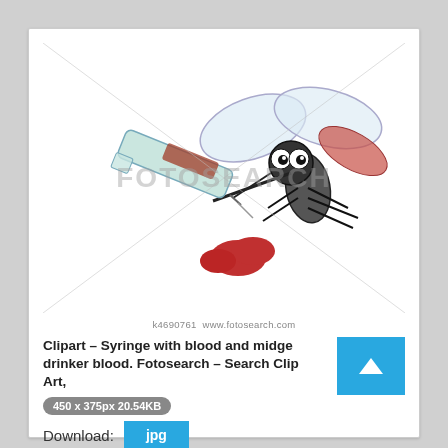[Figure (illustration): Clipart illustration of a cartoon mosquito/midge holding a syringe filled with blood, with a red blood drop at the bottom. The image has a FOTOSEARCH watermark and diagonal lines overlay. Image ID: k4690761 www.fotosearch.com]
k4690761  www.fotosearch.com
Clipart - Syringe with blood and midge drinker blood. Fotosearch - Search Clip Art,
450 x 375px 20.54KB
Download: jpg